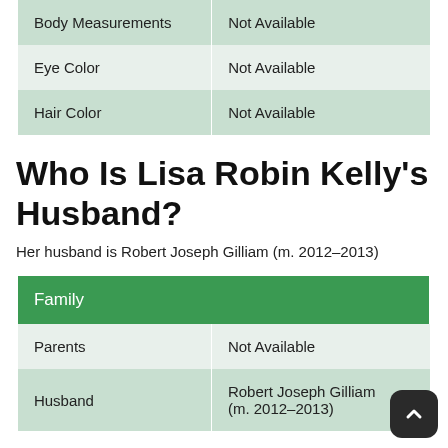|  |  |
| --- | --- |
| Body Measurements | Not Available |
| Eye Color | Not Available |
| Hair Color | Not Available |
Who Is Lisa Robin Kelly's Husband?
Her husband is Robert Joseph Gilliam (m. 2012–2013)
| Family |  |
| --- | --- |
| Parents | Not Available |
| Husband | Robert Joseph Gilliam (m. 2012–2013) |